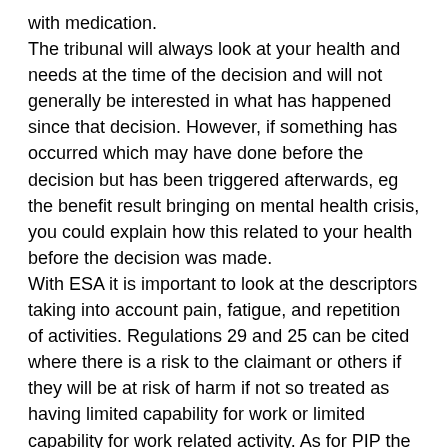with medication. The tribunal will always look at your health and needs at the time of the decision and will not generally be interested in what has happened since that decision. However, if something has occurred which may have done before the decision but has been triggered afterwards, eg the benefit result bringing on mental health crisis, you could explain how this related to your health before the decision was made. With ESA it is important to look at the descriptors taking into account pain, fatigue, and repetition of activities. Regulations 29 and 25 can be cited where there is a risk to the claimant or others if they will be at risk of harm if not so treated as having limited capability for work or limited capability for work related activity. As for PIP the support needed in order to carry out an activity reliably and repeatedly, and within a reasonable time, needs to be stated. ‘Reasonableness’ runs through benefits legislation.